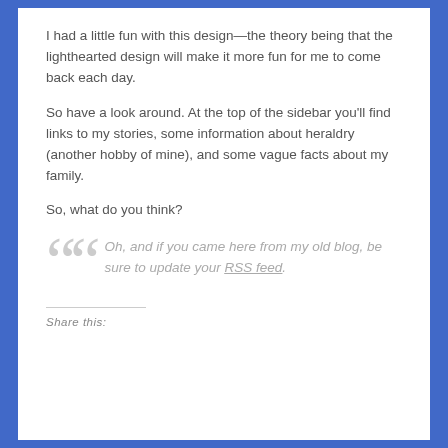I had a little fun with this design—the theory being that the lighthearted design will make it more fun for me to come back each day.
So have a look around. At the top of the sidebar you'll find links to my stories, some information about heraldry (another hobby of mine), and some vague facts about my family.
So, what do you think?
Oh, and if you came here from my old blog, be sure to update your RSS feed.
Share this: